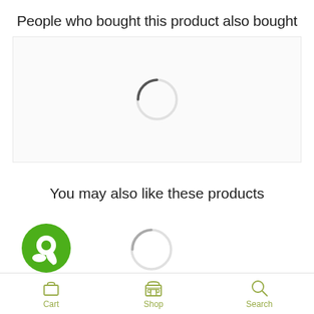People who bought this product also bought
[Figure (other): Loading spinner (circular progress indicator) inside a light gray bordered box]
You may also like these products
[Figure (other): Green chat bubble icon and a loading spinner side by side]
Cart   Shop   Search